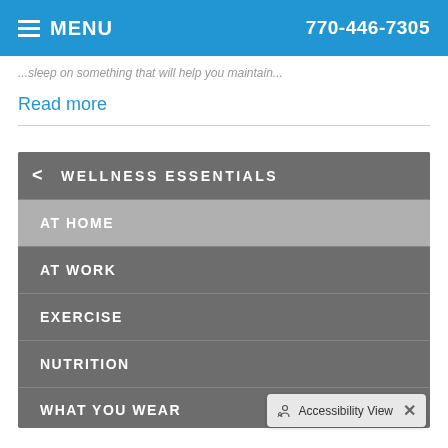MENU  770-446-7305
...sleep on something that will help you maintain...
Read more
[Figure (screenshot): Mobile website navigation menu panel showing 'WELLNESS ESSENTIALS' with items: AT HOME (selected/highlighted), AT WORK, EXERCISE, NUTRITION, WHAT YOU WEAR, and an Accessibility View overlay button at bottom right.]